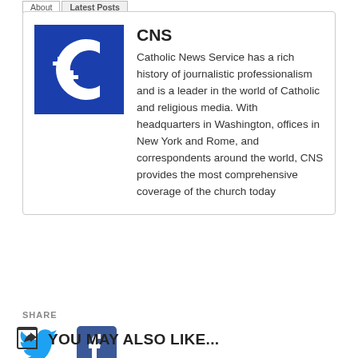[Figure (logo): CNS Catholic News Service logo — blue square with white stylized C and cross/plus symbols]
CNS
Catholic News Service has a rich history of journalistic professionalism and is a leader in the world of Catholic and religious media. With headquarters in Washington, offices in New York and Rome, and correspondents around the world, CNS provides the most comprehensive coverage of the church today
SHARE
[Figure (logo): Twitter bird icon in cyan/blue]
[Figure (logo): Facebook logo in dark blue square]
YOU MAY ALSO LIKE...